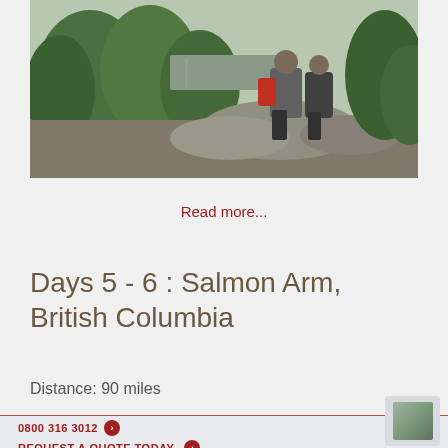[Figure (photo): Two people sitting on rocks outdoors with green trees and a valley/road visible in the background, viewed from behind. One person wears grey, the other has a red backpack.]
Read more...
Days 5 - 6 : Salmon Arm, British Columbia
Distance: 90 miles
0800 316 3012 ❯  REQUEST A QUOTE TODAY ❯  NEWSLETTER SIGN UP ❯